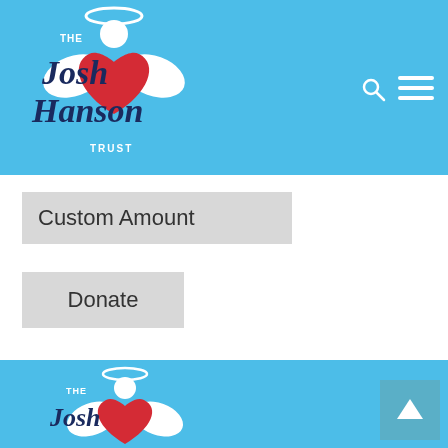[Figure (logo): The Josh Hanson Trust logo - angel with halo, red heart, white wings, cursive text on sky blue header background]
[Figure (other): Search icon (magnifying glass) in top right of header]
[Figure (other): Hamburger menu icon (three horizontal white lines) in top right of header]
Custom Amount
Donate
[Figure (logo): The Josh Hanson Trust footer logo - partial angel with halo, red heart, white wings, cursive text on sky blue footer background]
[Figure (other): Back to top button with upward arrow in bottom right corner]